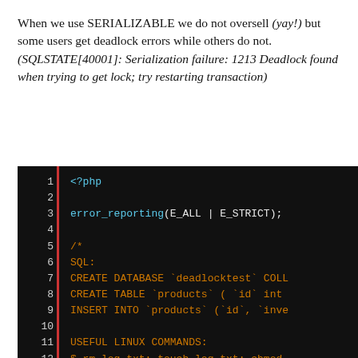When we use SERIALIZABLE we do not oversell (yay!) but some users get deadlock errors while others do not. (SQLSTATE[40001]: Serialization failure: 1213 Deadlock found when trying to get lock; try restarting transaction)
[Figure (screenshot): Code editor screenshot showing PHP code with line numbers 1-17. Lines 5-14 contain a block comment with SQL commands (CREATE DATABASE deadlocktest, CREATE TABLE products, INSERT INTO products) and Linux commands (rm log.txt; touch log.txt; chmod, seige http://host/file.php). Line 16 shows a dashed comment line and line 17 shows '// Config'.]